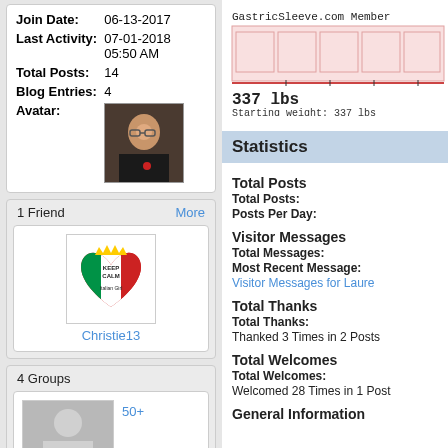| Field | Value |
| --- | --- |
| Join Date: | 06-13-2017 |
| Last Activity: | 07-01-2018 05:50 AM |
| Total Posts: | 14 |
| Blog Entries: | 4 |
| Avatar: | (photo) |
1 Friend
More
[Figure (photo): Christie13 friend avatar - Italian girl heart logo]
Christie13
4 Groups
[Figure (photo): Group avatar placeholder - grey silhouette]
50+
[Figure (infographic): GastricSleeve.com Member bar chart showing weight progress with pink bars]
337 lbs
Starting weight: 337 lbs
Statistics
Total Posts
Total Posts:
Posts Per Day:
Visitor Messages
Total Messages:
Most Recent Message:
Visitor Messages for Laure
Total Thanks
Total Thanks:
Thanked 3 Times in 2 Posts
Total Welcomes
Total Welcomes:
Welcomed 28 Times in 1 Post
General Information